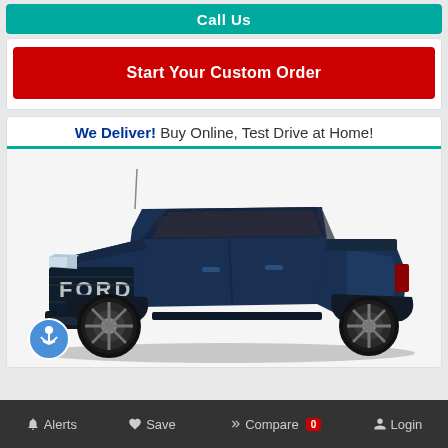Call Us
Start Your Custom Order
We Deliver! Buy Online, Test Drive at Home!
[Figure (photo): Dark navy blue Ford F-150 Raptor pickup truck facing slightly left, showing front grille with FORD lettering, full body profile on white background with accessibility icon in lower left]
Alerts  Save  Compare 0  Login